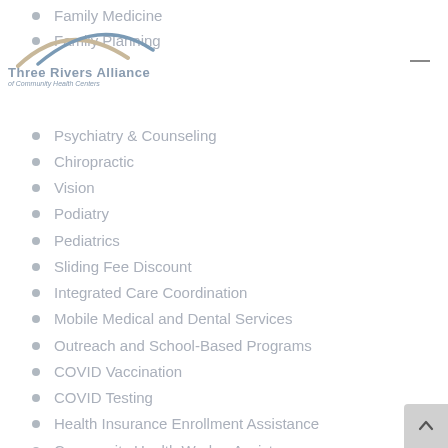Family Medicine
Family Planning
[Figure (logo): Three Rivers Alliance of Community Health Centers logo with arc graphic]
Psychiatry & Counseling
Chiropractic
Vision
Podiatry
Pediatrics
Sliding Fee Discount
Integrated Care Coordination
Mobile Medical and Dental Services
Outreach and School-Based Programs
COVID Vaccination
COVID Testing
Health Insurance Enrollment Assistance
Community Health Worker Assistance